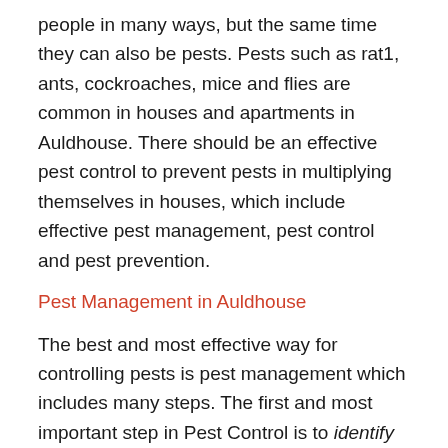people in many ways, but the same time they can also be pests. Pests such as rat1, ants, cockroaches, mice and flies are common in houses and apartments in Auldhouse. There should be an effective pest control to prevent pests in multiplying themselves in houses, which include effective pest management, pest control and pest prevention.
Pest Management in Auldhouse
The best and most effective way for controlling pests is pest management which includes many steps. The first and most important step in Pest Control is to identify the pest problem. This includes finding out exactly what you are up against. Some pests (bacteria, animals) are really helpful to people, so it is very important to find out any harmful pests. The second thing is to decide how much pest control is necessary for your problem in Auldhouse. On the f...